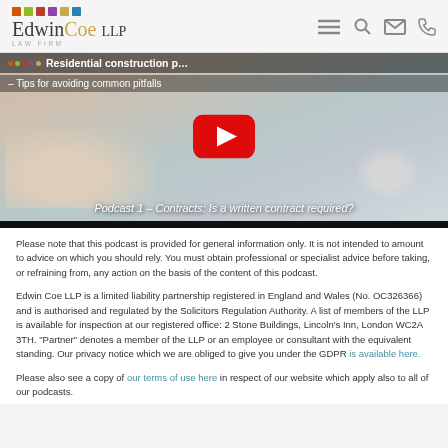EdwinCoe LLP - LAW FIRM
[Figure (screenshot): YouTube video thumbnail for 'Residential construction podcast series – Tips for avoiding common pitfalls', showing Podcast 1 – Contracts: Is a written contract required?]
Please note that this podcast is provided for general information only. It is not intended to amount to advice on which you should rely. You must obtain professional or specialist advice before taking, or refraining from, any action on the basis of the content of this podcast.
Edwin Coe LLP is a limited liability partnership registered in England and Wales (No. OC326366) and is authorised and regulated by the Solicitors Regulation Authority. A list of members of the LLP is available for inspection at our registered office: 2 Stone Buildings, Lincoln's Inn, London WC2A 3TH. "Partner" denotes a member of the LLP or an employee or consultant with the equivalent standing. Our privacy notice which we are obliged to give you under the GDPR is available here.
Please also see a copy of our terms of use here in respect of our website which apply also to all of our podcasts.